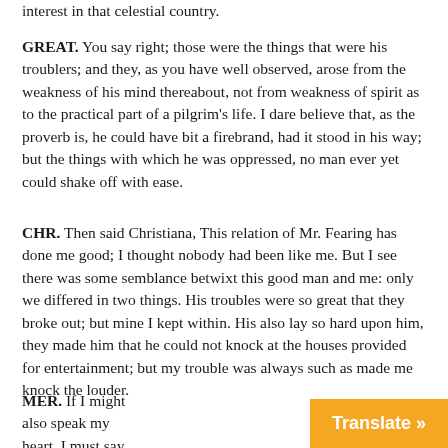interest in that celestial country.
GREAT. You say right; those were the things that were his troublers; and they, as you have well observed, arose from the weakness of his mind thereabout, not from weakness of spirit as to the practical part of a pilgrim's life. I dare believe that, as the proverb is, he could have bit a firebrand, had it stood in his way; but the things with which he was oppressed, no man ever yet could shake off with ease.
CHR. Then said Christiana, This relation of Mr. Fearing has done me good; I thought nobody had been like me. But I see there was some semblance betwixt this good man and me: only we differed in two things. His troubles were so great that they broke out; but mine I kept within. His also lay so hard upon him, they made him that he could not knock at the houses provided for entertainment; but my trouble was always such as made me knock the louder.
MER. If I might also speak my heart, I must say that something of him has also dwelt in me. Fo